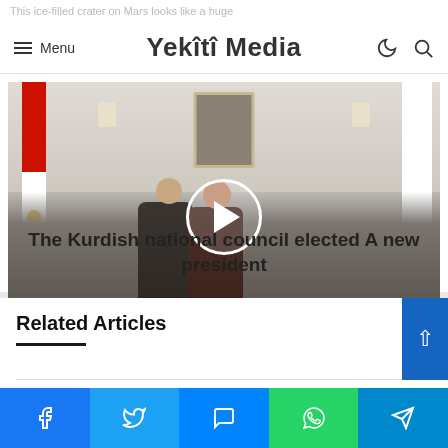This ice-filled crater on Mars looks like a huge
Menu — Yekîtî Media
[Figure (photo): Photo of two men in suits shaking hands inside a formal room with a Kurdish flag on the left, an organizational flag on the right, a portrait on the wall, and several seated attendees. A circular play button overlay is centered on the image.]
The Kurdish national council elected A new president
Related Articles